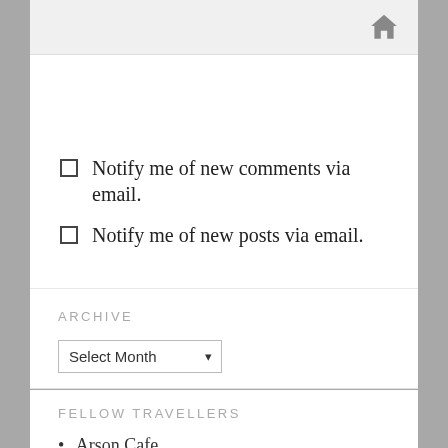[Figure (other): Grey input area with home icon at top]
Post Comment
Notify me of new comments via email.
Notify me of new posts via email.
ARCHIVE
Select Month
FELLOW TRAVELLERS
Arson Cafe
Blinkle...